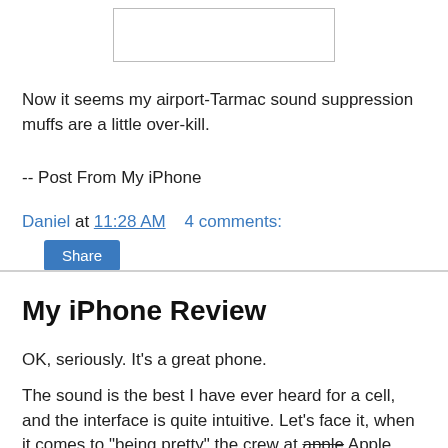[Figure (other): White rectangle placeholder image at top of page]
Now it seems my airport-Tarmac sound suppression muffs are a little over-kill.
-- Post From My iPhone
Daniel at 11:28 AM    4 comments:
Share
My iPhone Review
OK, seriously. It's a great phone.
The sound is the best I have ever heard for a cell, and the interface is quite intuitive. Let's face it, when it comes to "being pretty" the crew at apple Apple know their stuff.